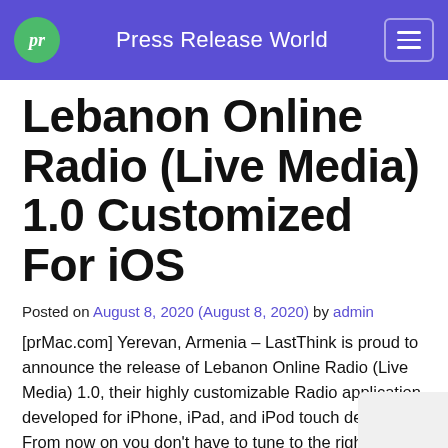Press Release World
Lebanon Online Radio (Live Media) 1.0 Customized For iOS
Posted on August 8, 2020 (August 8, 2020) by admin
[prMac.com] Yerevan, Armenia – LastThink is proud to announce the release of Lebanon Online Radio (Live Media) 1.0, their highly customizable Radio application developed for iPhone, iPad, and iPod touch devices. From now on you don't have to tune to the right station you want, as finding your favorite station is simply a clic
Features: